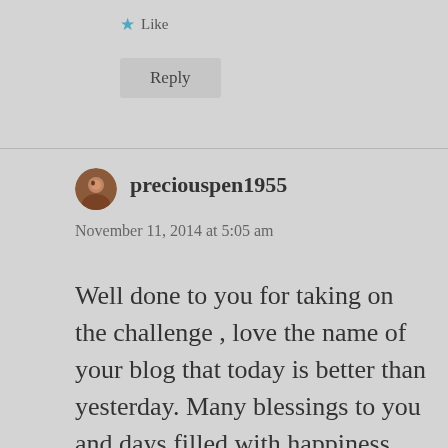★ Like
Reply
preciouspen1955
November 11, 2014 at 5:05 am
Well done to you for taking on the challenge , love the name of your blog that today is better than yesterday. Many blessings to you and days filled with happiness.